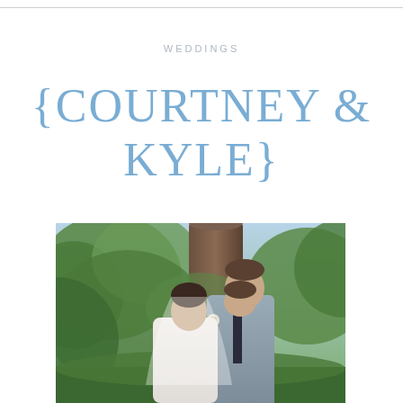WEDDINGS
{COURTNEY & KYLE}
[Figure (photo): Outdoor wedding portrait of a bride and groom standing close together near a large tree. The groom, wearing a gray suit with a white boutonniere and black tie, kisses the top of the bride's head. The bride, wearing a white dress and veil, has her eyes closed. Lush green trees are in the background.]